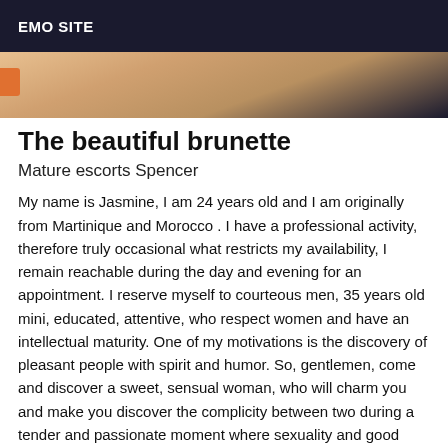EMO SITE
[Figure (photo): Partial photo of a person, showing an orange accent on the left and a beige/tan background, cropped at top of page.]
The beautiful brunette
Mature escorts Spencer
My name is Jasmine, I am 24 years old and I am originally from Martinique and Morocco . I have a professional activity, therefore truly occasional what restricts my availability, I remain reachable during the day and evening for an appointment. I reserve myself to courteous men, 35 years old mini, educated, attentive, who respect women and have an intellectual maturity. One of my motivations is the discovery of pleasant people with spirit and humor. So, gentlemen, come and discover a sweet, sensual woman, who will charm you and make you discover the complicity between two during a tender and passionate moment where sexuality and good humor intertwine. This meeting will be of